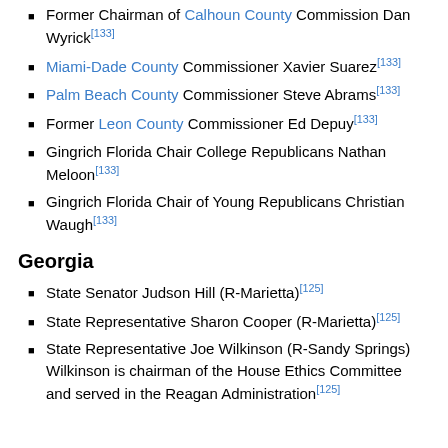Former Chairman of Calhoun County Commission Dan Wyrick[133]
Miami-Dade County Commissioner Xavier Suarez[133]
Palm Beach County Commissioner Steve Abrams[133]
Former Leon County Commissioner Ed Depuy[133]
Gingrich Florida Chair College Republicans Nathan Meloon[133]
Gingrich Florida Chair of Young Republicans Christian Waugh[133]
Georgia
State Senator Judson Hill (R-Marietta)[125]
State Representative Sharon Cooper (R-Marietta)[125]
State Representative Joe Wilkinson (R-Sandy Springs) Wilkinson is chairman of the House Ethics Committee and served in the Reagan Administration[125]